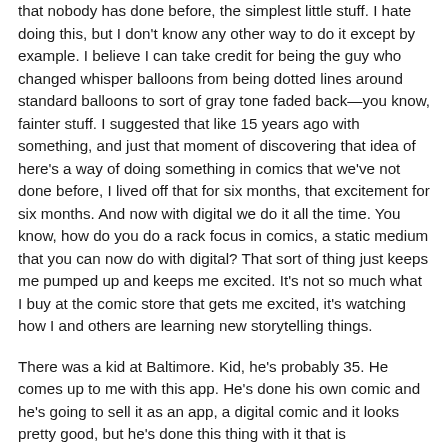that nobody has done before, the simplest little stuff. I hate doing this, but I don't know any other way to do it except by example. I believe I can take credit for being the guy who changed whisper balloons from being dotted lines around standard balloons to sort of gray tone faded back—you know, fainter stuff. I suggested that like 15 years ago with something, and just that moment of discovering that idea of here's a way of doing something in comics that we've not done before, I lived off that for six months, that excitement for six months. And now with digital we do it all the time. You know, how do you do a rack focus in comics, a static medium that you can now do with digital? That sort of thing just keeps me pumped up and keeps me excited. It's not so much what I buy at the comic store that gets me excited, it's watching how I and others are learning new storytelling things.
There was a kid at Baltimore. Kid, he's probably 35. He comes up to me with this app. He's done his own comic and he's going to sell it as an app, a digital comic and it looks pretty good, but he's done this thing with it that is phenomenal, which is if you're scrolling left to right that's how you change pages. But if you scroll up and down that's when you start to see different levels of the work. In other words, if you scroll down, you peel the lettering away and then you peel the coloring away to see the pencils and then you peel the